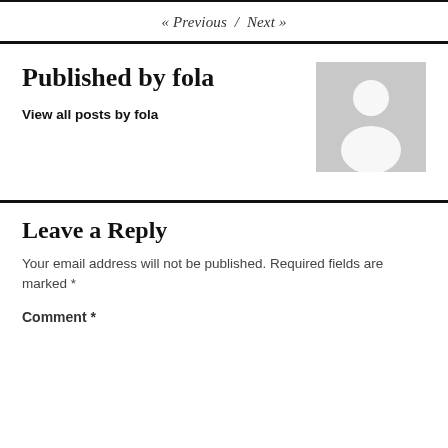« Previous / Next »
Published by fola
View all posts by fola
[Figure (illustration): Gray placeholder avatar icon showing a silhouette of a person]
Leave a Reply
Your email address will not be published. Required fields are marked *
Comment *